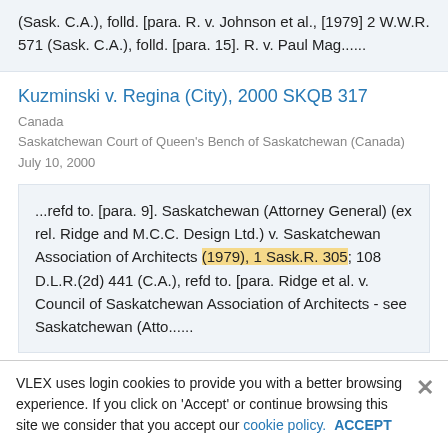(Sask. C.A.), folld. [para. R. v. Johnson et al., [1979] 2 W.W.R. 571 (Sask. C.A.), folld. [para. 15]. R. v. Paul Mag......
Kuzminski v. Regina (City), 2000 SKQB 317
Canada
Saskatchewan Court of Queen's Bench of Saskatchewan (Canada)
July 10, 2000
...refd to. [para. 9]. Saskatchewan (Attorney General) (ex rel. Ridge and M.C.C. Design Ltd.) v. Saskatchewan Association of Architects (1979), 1 Sask.R. 305; 108 D.L.R.(2d) 441 (C.A.), refd to. [para. Ridge et al. v. Council of Saskatchewan Association of Architects - see Saskatchewan (Atto......
Sebastian v. Workers' Compensation Board (Sask.)
VLEX uses login cookies to provide you with a better browsing experience. If you click on 'Accept' or continue browsing this site we consider that you accept our cookie policy. ACCEPT